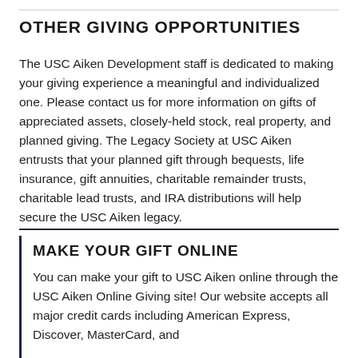OTHER GIVING OPPORTUNITIES
The USC Aiken Development staff is dedicated to making your giving experience a meaningful and individualized one. Please contact us for more information on gifts of appreciated assets, closely-held stock, real property, and planned giving. The Legacy Society at USC Aiken entrusts that your planned gift through bequests, life insurance, gift annuities, charitable remainder trusts, charitable lead trusts, and IRA distributions will help secure the USC Aiken legacy.
MAKE YOUR GIFT ONLINE
You can make your gift to USC Aiken online through the USC Aiken Online Giving site! Our website accepts all major credit cards including American Express, Discover, MasterCard, and